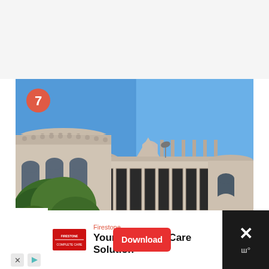[Figure (photo): Exterior photograph of a beige/sandstone colored building with a large circular rotunda structure on the left, arched windows, decorative cornice, and a long lower wing with tall narrow windows. Green trees visible in the foreground. Blue sky background. A red circular badge with number 7 is overlaid in the top-left corner of the photo.]
[Figure (screenshot): Mobile advertisement banner at the bottom of the screen. White background with Firestone branding in red, headline 'Your Complete Care Solution', a red Download button, and a dark close button area with X symbol on the right.]